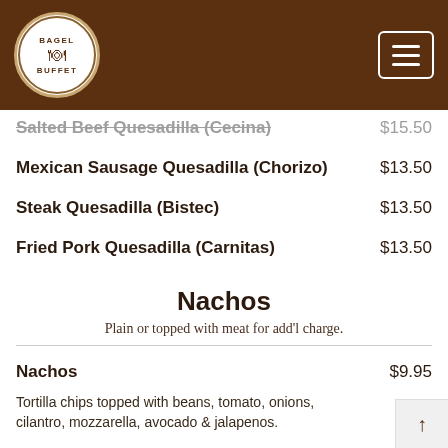Bagel Buffet logo and navigation header
Salted Beef Quesadilla (Cecina) $15.50
Mexican Sausage Quesadilla (Chorizo) $13.50
Steak Quesadilla (Bistec) $13.50
Fried Pork Quesadilla (Carnitas) $13.50
Nachos
Plain or topped with meat for add'l charge.
Nachos $9.95
Tortilla chips topped with beans, tomato, onions, cilantro, mozzarella, avocado & jalapenos.
Tamales
Chicken Tamale (1) $2.75